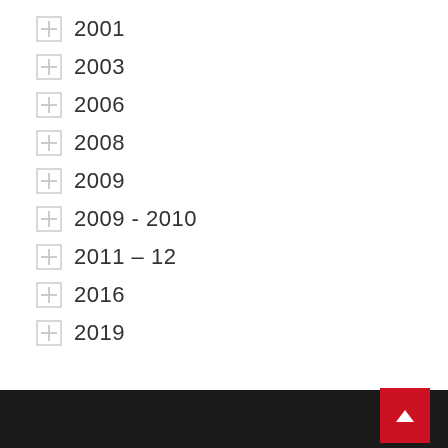2001
2003
2006
2008
2009
2009 - 2010
2011 – 12
2016
2019